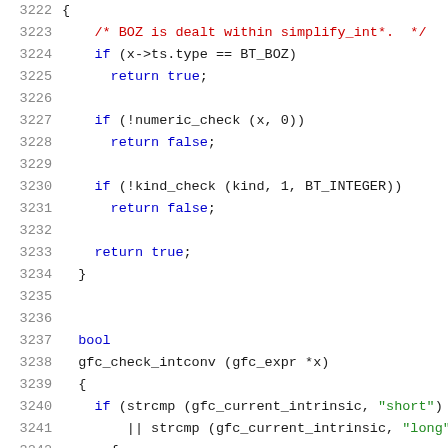Source code listing lines 3222-3243, showing C code for gfc_check_int and gfc_check_intconv functions